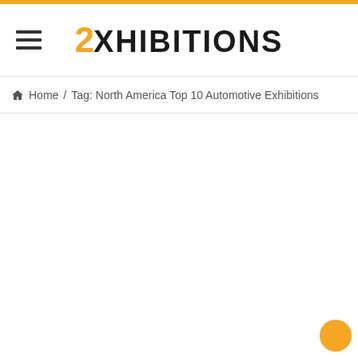2EXHIBITIONS
Home / Tag: North America Top 10 Automotive Exhibitions